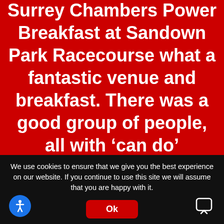I was recently at the Surrey Chambers Power Breakfast at Sandown Park Racecourse what a fantastic venue and breakfast. There was a good group of people, all with ‘can do’ attitudes as well as an
We use cookies to ensure that we give you the best experience on our website. If you continue to use this site we will assume that you are happy with it.